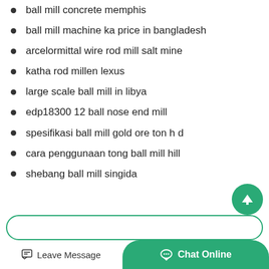ball mill concrete memphis
ball mill machine ka price in bangladesh
arcelormittal wire rod mill salt mine
katha rod millen lexus
large scale ball mill in libya
edp18300 12 ball nose end mill
spesifikasi ball mill gold ore ton h d
cara penggunaan tong ball mill hill
shebang ball mill singida
Leave Message   Chat Online